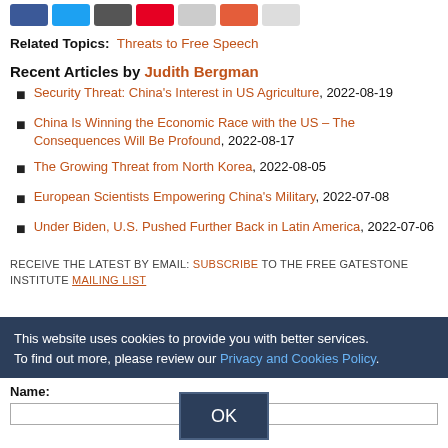Related Topics: Threats to Free Speech
Recent Articles by Judith Bergman
Security Threat: China's Interest in US Agriculture, 2022-08-19
China Is Winning the Economic Race with the US – The Consequences Will Be Profound, 2022-08-17
The Growing Threat from North Korea, 2022-08-05
European Scientists Empowering China's Military, 2022-07-08
Under Biden, U.S. Pushed Further Back in Latin America, 2022-07-06
RECEIVE THE LATEST BY EMAIL: SUBSCRIBE TO THE FREE GATESTONE INSTITUTE MAILING LIST
This website uses cookies to provide you with better services. To find out more, please review our Privacy and Cookies Policy.
Name: